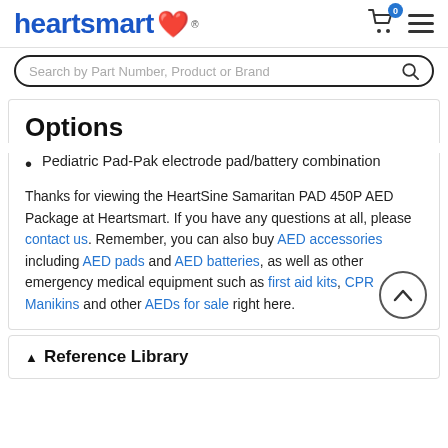heartsmart® [logo with heart]
Options
Pediatric Pad-Pak electrode pad/battery combination
Thanks for viewing the HeartSine Samaritan PAD 450P AED Package at Heartsmart. If you have any questions at all, please contact us. Remember, you can also buy AED accessories including AED pads and AED batteries, as well as other emergency medical equipment such as first aid kits, CPR Manikins and other AEDs for sale right here.
Reference Library